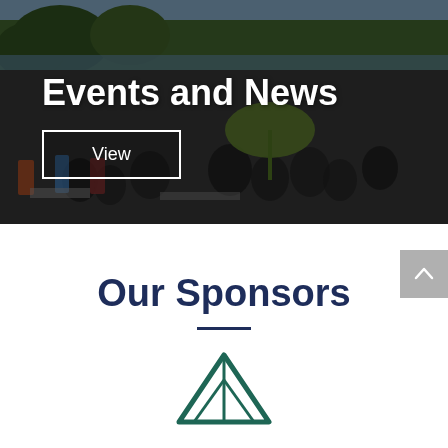[Figure (photo): Outdoor community event with people seated and gathered near trees and water, with a green umbrella visible.]
Events and News
View
Our Sponsors
[Figure (logo): Partial tent/camping logo icon in teal/dark green color at bottom of page.]